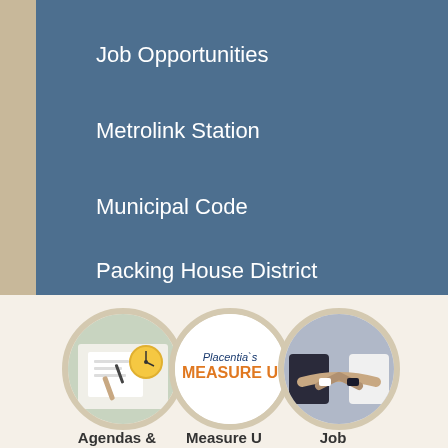Job Opportunities
Metrolink Station
Municipal Code
Packing House District
[Figure (photo): Circular icon showing a person writing at a desk with a clock in the background]
Agendas & Minutes
[Figure (logo): Circular icon showing Placentia's MEASURE U logo text in blue and orange]
Measure U
[Figure (photo): Circular icon showing two people shaking hands in business attire]
Job Opportunities